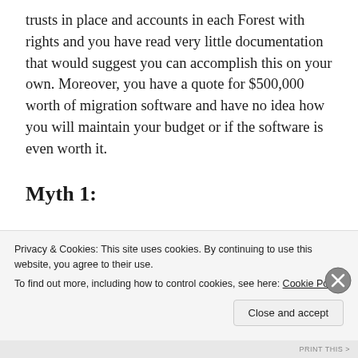trusts in place and accounts in each Forest with rights and you have read very little documentation that would suggest you can accomplish this on your own. Moreover, you have a quote for $500,000 worth of migration software and have no idea how you will maintain your budget or if the software is even worth it.
Myth 1:
Migrating Exchange mailboxes from
Privacy & Cookies: This site uses cookies. By continuing to use this website, you agree to their use.
To find out more, including how to control cookies, see here: Cookie Policy